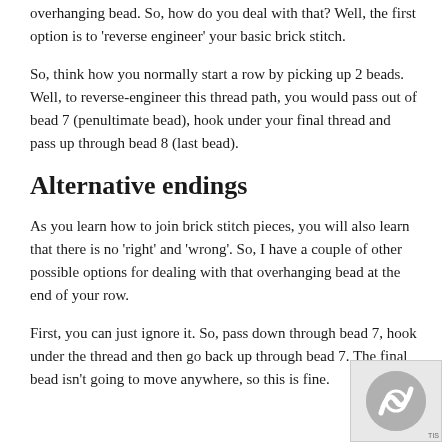overhanging bead. So, how do you deal with that? Well, the first option is to 'reverse engineer' your basic brick stitch.
So, think how you normally start a row by picking up 2 beads. Well, to reverse-engineer this thread path, you would pass out of bead 7 (penultimate bead), hook under your final thread and pass up through bead 8 (last bead).
Alternative endings
As you learn how to join brick stitch pieces, you will also learn that there is no 'right' and 'wrong'. So, I have a couple of other possible options for dealing with that overhanging bead at the end of your row.
First, you can just ignore it. So, pass down through bead 7, hook under the thread and then go back up through bead 7. The final bead isn't going to move anywhere, so this is fine.